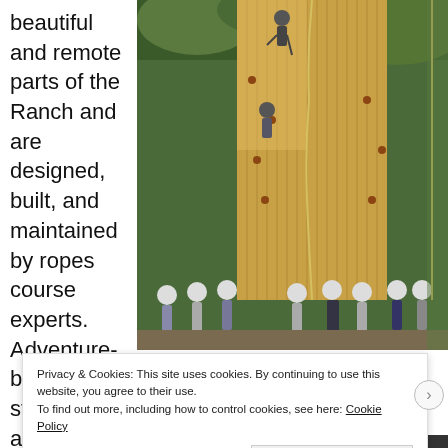beautiful and remote parts of the Ranch and are designed, built, and maintained by ropes course experts. Adventure-based strategies f a
[Figure (photo): Outdoor climbing wall made of wood with people wearing helmets watching from below. Two climbers visible on the wall. Trees in background.]
Privacy & Cookies: This site uses cookies. By continuing to use this website, you agree to their use.
To find out more, including how to control cookies, see here: Cookie Policy
Close and accept
NEXT: THE RA...